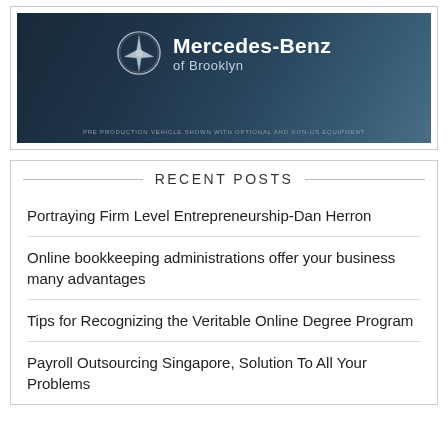[Figure (photo): Mercedes-Benz of Brooklyn advertisement banner with dark blue background, Mercedes star logo, brand name and location text, and disclaimer text at bottom]
RECENT POSTS
Portraying Firm Level Entrepreneurship-Dan Herron
Online bookkeeping administrations offer your business many advantages
Tips for Recognizing the Veritable Online Degree Program
Payroll Outsourcing Singapore, Solution To All Your Problems